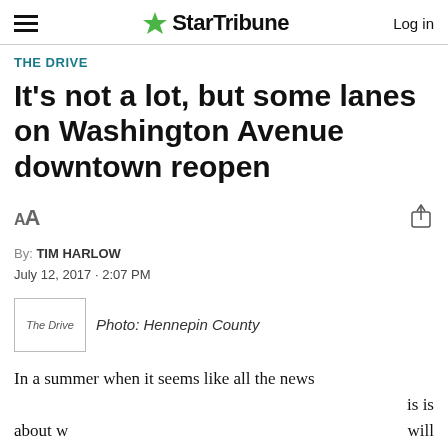StarTribune — Log in
THE DRIVE
It's not a lot, but some lanes on Washington Avenue downtown reopen
AA [font size controls] [share icon]
By: TIM HARLOW
July 12, 2017 · 2:07 PM
Photo: Hennepin County
In a summer when it seems like all the news is is about w will